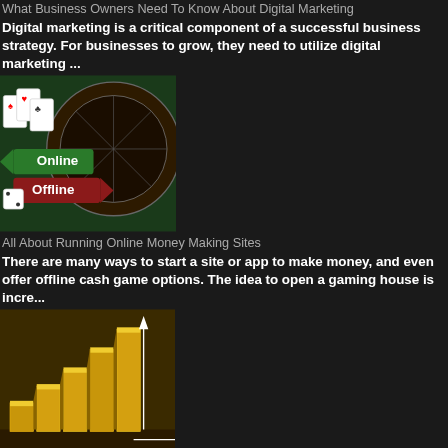What Business Owners Need To Know About Digital Marketing
Digital marketing is a critical component of a successful business strategy. For businesses to grow, they need to utilize digital marketing ...
[Figure (photo): Online/Offline road sign with casino chips background]
All About Running Online Money Making Sites
There are many ways to start a site or app to make money, and even offer offline cash game options. The idea to open a gaming house is incre...
[Figure (photo): Gold bar chart rising on gold surface]
How To Invest In Gold The Smart Way
If you want to know how to invest in gold, then I am going to assume you have already made the decision to invest in gold in the first place...
[Figure (photo): Digital marketing infographic with icons and arrows]